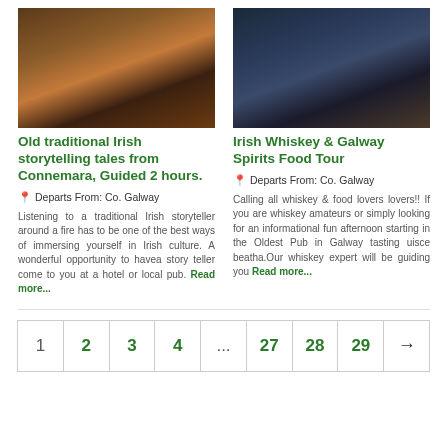[Figure (photo): People sitting around a fire in a traditional Irish pub setting]
Old traditional Irish storytelling tales from Connemara, Guided 2 hours.
Departs From: Co. Galway
Listening to a traditional Irish storyteller around a fire has to be one of the best ways of immersing yourself in Irish culture. A wonderful opportunity to havea story teller come to you at a hotel or local pub. Read more...
[Figure (photo): A waiter carrying a tray of dark stout beers in a pub]
Irish Whiskey & Galway Spirits Food Tour
Departs From: Co. Galway
Calling all whiskey & food lovers lovers!! If you are whiskey amateurs or simply looking for an informational fun afternoon starting in the Oldest Pub in Galway tasting uisce beatha.Our whiskey expert will be guiding you Read more...
1
2
3
4
...
27
28
29
→